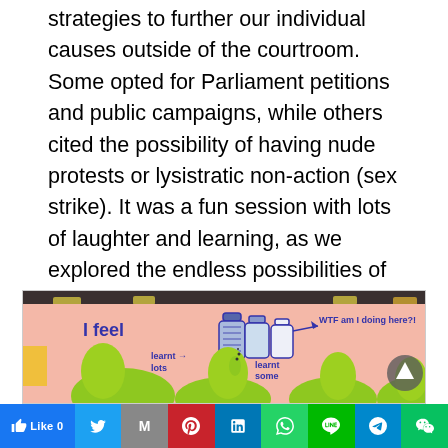strategies to further our individual causes outside of the courtroom. Some opted for Parliament petitions and public campaigns, while others cited the possibility of having nude protests or lysistratic non-action (sex strike). It was a fun session with lots of laughter and learning, as we explored the endless possibilities of civil resistance. Peaceful, creative resistance.
[Figure (photo): Photo of a pink paper on a board with hand-drawn bottle figures and handwritten text reading 'I feel', 'learnt lots', 'WTF am I doing here!!', 'learnt some', with green bottle/duck shapes in foreground.]
Like 0 | Twitter | Gmail | Pinterest | LinkedIn | WhatsApp | Line | Telegram | WeChat